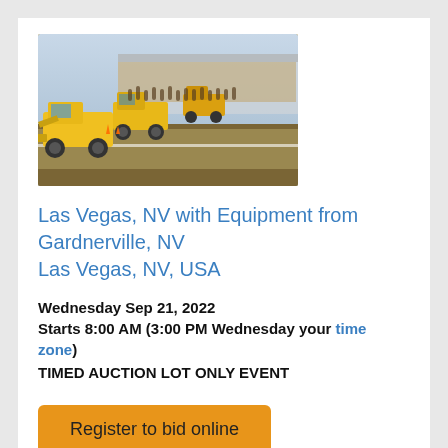[Figure (photo): Construction equipment auction scene showing yellow wheel loaders lined up with a crowd of people in the background at an outdoor auction site.]
Las Vegas, NV with Equipment from Gardnerville, NV
Las Vegas, NV, USA
Wednesday Sep 21, 2022
Starts 8:00 AM (3:00 PM Wednesday your time zone)
TIMED AUCTION LOT ONLY EVENT
Register to bid online